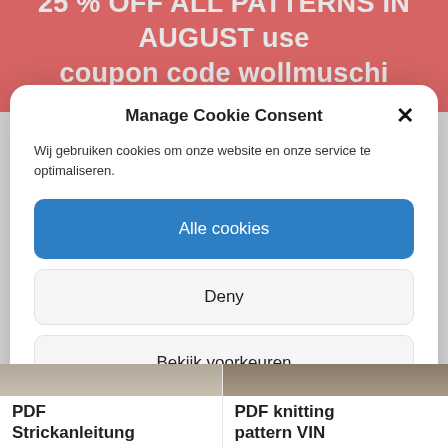25 % OFF ALL PATTERNS IN AUGUST use coupon code wollmuschi during check out
Manage Cookie Consent
Wij gebruiken cookies om onze website en onze service te optimaliseren.
Alle cookies
Deny
Bekijk voorkeuren
Cookie policy   Winkelvoorwaarden
PDF Strickanleitung
PDF knitting pattern VIN